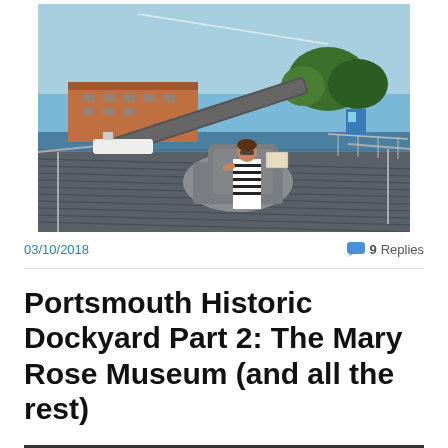[Figure (photo): Person sitting in a naval gun turret on a ship deck at Portsmouth Historic Dockyard, with water, marina, and buildings visible in the background under a blue sky.]
03/10/2018
9 Replies
Portsmouth Historic Dockyard Part 2: The Mary Rose Museum (and all the rest)